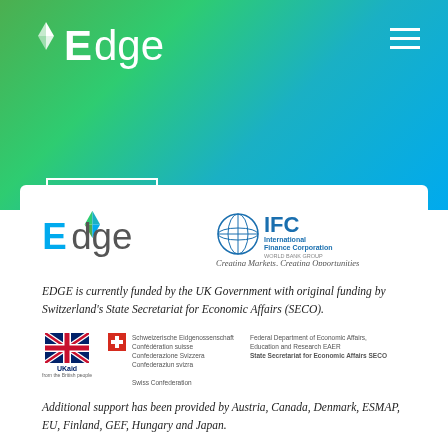[Figure (logo): EDGE logo in white on green-to-blue gradient header background]
[Figure (logo): LEARN MORE button with white border on gradient background]
[Figure (logo): EDGE logo (green/blue) and IFC International Finance Corporation World Bank Group logo side by side on white card]
EDGE is currently funded by the UK Government with original funding by Switzerland's State Secretariat for Economic Affairs (SECO).
[Figure (logo): UK Aid flag logo, Swiss Confederation shield logo with multilingual text, and SECO Federal Department text]
Additional support has been provided by Austria, Canada, Denmark, ESMAP, EU, Finland, GEF, Hungary and Japan.